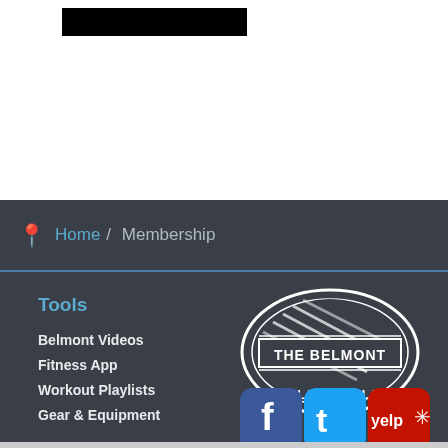[Figure (logo): Black rectangle logo/header image at top of page]
Home / Membership
Tools
Belmont Videos
Fitness App
Workout Playlists
Gear & Equipment
[Figure (logo): The Belmont Athletic Club circular logo with diagonal stripes and text]
[Figure (logo): Facebook, Twitter, and Yelp social media icons]